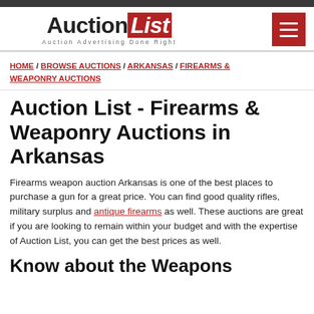AuctionList — Auction Advertising Done Right
HOME / BROWSE AUCTIONS / ARKANSAS / FIREARMS & WEAPONRY AUCTIONS
Auction List - Firearms & Weaponry Auctions in Arkansas
Firearms weapon auction Arkansas is one of the best places to purchase a gun for a great price. You can find good quality rifles, military surplus and antique firearms as well. These auctions are great if you are looking to remain within your budget and with the expertise of Auction List, you can get the best prices as well.
Know about the Weapons